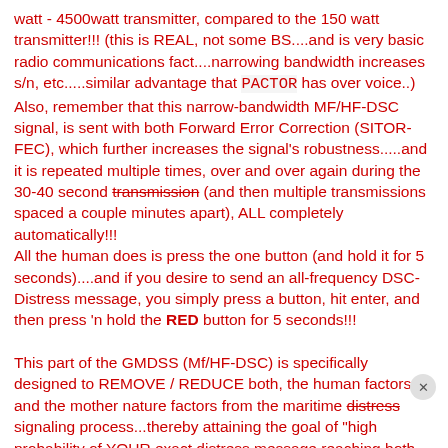watt - 4500watt transmitter, compared to the 150 watt transmitter!!! (this is REAL, not some BS....and is very basic radio communications fact....narrowing bandwidth increases s/n, etc.....similar advantage that PACTOR has over voice..) Also, remember that this narrow-bandwidth MF/HF-DSC signal, is sent with both Forward Error Correction (SITOR-FEC), which further increases the signal's robustness.....and it is repeated multiple times, over and over again during the 30-40 second transmission (and then multiple transmissions spaced a couple minutes apart), ALL completely automatically!!! All the human does is press the one button (and hold it for 5 seconds)....and if you desire to send an all-frequency DSC-Distress message, you simply press a button, hit enter, and then press 'n hold the RED button for 5 seconds!!! This part of the GMDSS (Mf/HF-DSC) is specifically designed to REMOVE / REDUCE both, the human factors and the mother nature factors from the maritime distress signaling process...thereby attaining the goal of "high probability of YOUR exact distress message reaching both shoreside RCC ("coast stations") and all vessels in your region".... It does this by the robustness of the signal, the FEC, the repetition of the information, the multiple transmissions, the multiple/various...